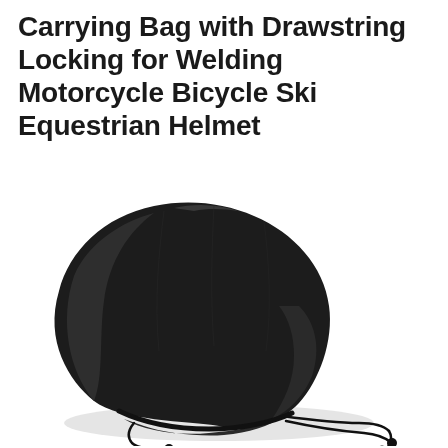Carrying Bag with Drawstring Locking for Welding Motorcycle Bicycle Ski Equestrian Helmet
[Figure (photo): A black drawstring carrying bag for helmets, shown resting on a white surface. The bag is made of black fabric, filled with a helmet shape, and has two black drawstring cords with toggles/knots at the ends extending to the right.]